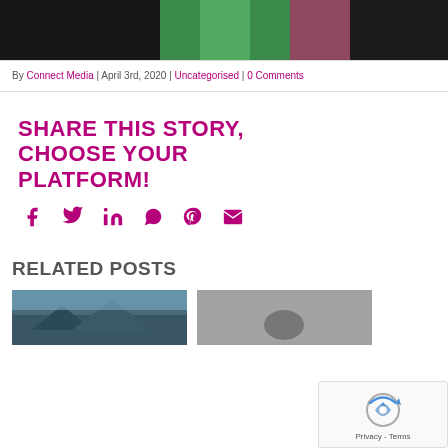[Figure (photo): Top portion of a photo showing people in dark jackets with green fabric/sash and pink flowers]
By Connect Media | April 3rd, 2020 | Uncategorised | 0 Comments
SHARE THIS STORY, CHOOSE YOUR PLATFORM!
[Figure (infographic): Social media share icons: Facebook, Twitter, LinkedIn, WhatsApp, Pinterest, Email — all in magenta/purple]
RELATED POSTS
[Figure (photo): Small thumbnail of a landscape/outdoor scene]
[Figure (photo): Small thumbnail of a grey/monochrome scene]